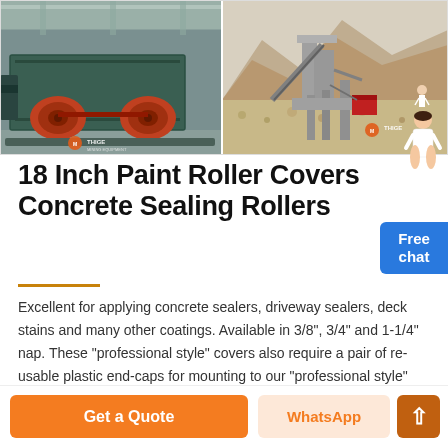[Figure (photo): Two industrial machinery photos side by side: left shows a green industrial roller/crusher machine indoors; right shows a quarry/mining operation with heavy equipment outdoors. Both photos have THIDE company logo watermarks.]
18 Inch Paint Roller Covers Concrete Sealing Rollers
Excellent for applying concrete sealers, driveway sealers, deck stains and many other coatings. Available in 3/8", 3/4" and 1-1/4" nap. These "professional style" covers also require a pair of re-usable plastic end-caps for mounting to our "professional style" 18" roller frame .
Get a Quote
WhatsApp